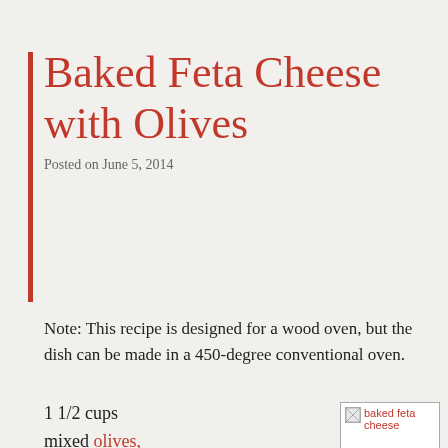Baked Feta Cheese with Olives
Posted on June 5, 2014
Note: This recipe is designed for a wood oven, but the dish can be made in a 450-degree conventional oven.
1 1/2 cups mixed olives, pitted or not, in brine | 1 tablespoon chopped lemon thyme | 2 teaspoons grated orange
[Figure (photo): baked feta cheese image placeholder]